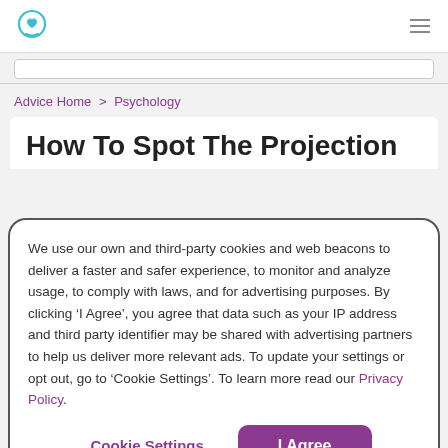BetterHelp logo and navigation menu
Advice Home > Psychology
How To Spot The Projection
We use our own and third-party cookies and web beacons to deliver a faster and safer experience, to monitor and analyze usage, to comply with laws, and for advertising purposes. By clicking ‘I Agree’, you agree that data such as your IP address and third party identifier may be shared with advertising partners to help us deliver more relevant ads. To update your settings or opt out, go to ‘Cookie Settings’. To learn more read our Privacy Policy.
Cookie Settings | I Agree